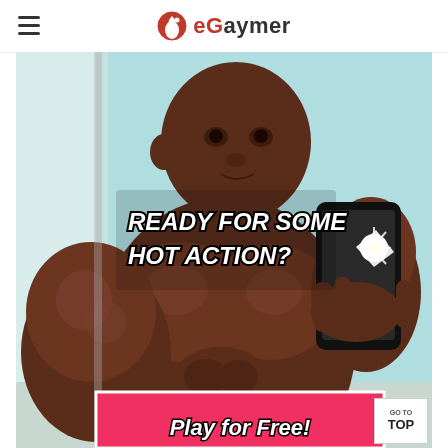eGaymer
[Figure (illustration): Animated illustration of a muscular person taking a selfie in a mirror, with text overlay 'READY FOR SOME HOT ACTION?' and a pink banner at bottom reading 'Play for Free!']